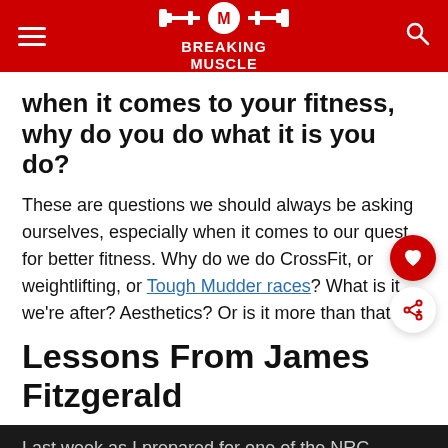BREAKING MUSCLE
when it comes to your fitness, why do you do what it is you do?
These are questions we should always be asking ourselves, especially when it comes to our quest for better fitness. Why do we do CrossFit, or weightlifting, or Tough Mudder races? What is it we're after? Aesthetics? Or is it more than that?
Lessons From James Fitzgerald
Last week as I prepared for one of the NRC